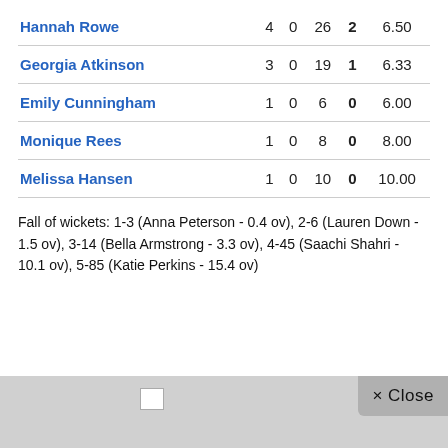| Player | Overs | Maidens | Runs | Wickets | Economy |
| --- | --- | --- | --- | --- | --- |
| Hannah Rowe | 4 | 0 | 26 | 2 | 6.50 |
| Georgia Atkinson | 3 | 0 | 19 | 1 | 6.33 |
| Emily Cunningham | 1 | 0 | 6 | 0 | 6.00 |
| Monique Rees | 1 | 0 | 8 | 0 | 8.00 |
| Melissa Hansen | 1 | 0 | 10 | 0 | 10.00 |
Fall of wickets: 1-3 (Anna Peterson - 0.4 ov), 2-6 (Lauren Down - 1.5 ov), 3-14 (Bella Armstrong - 3.3 ov), 4-45 (Saachi Shahri - 10.1 ov), 5-85 (Katie Perkins - 15.4 ov)